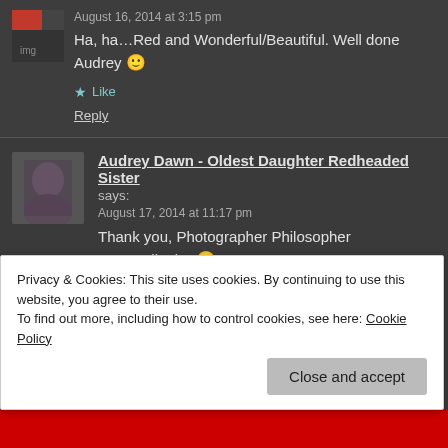August 16, 2014 at 3:15 pm
Ha, ha…Red and Wonderful/Beautiful. Well done Audrey 🙂
★ Like
Reply
Audrey Dawn - Oldest Daughter Redheaded Sister says:
August 17, 2014 at 11:17 pm
Thank you, Photographer Philosopher Extraordinaire 🙂 My
Privacy & Cookies: This site uses cookies. By continuing to use this website, you agree to their use. To find out more, including how to control cookies, see here: Cookie Policy
Close and accept